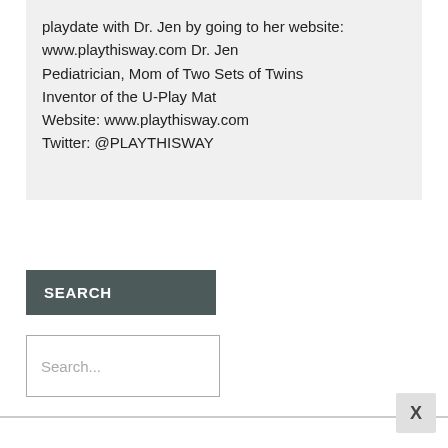playdate with Dr. Jen by going to her website: www.playthisway.com Dr. Jen Pediatrician, Mom of Two Sets of Twins Inventor of the U-Play Mat Website: www.playthisway.com Twitter: @PLAYTHISWAY
SEARCH
Search...